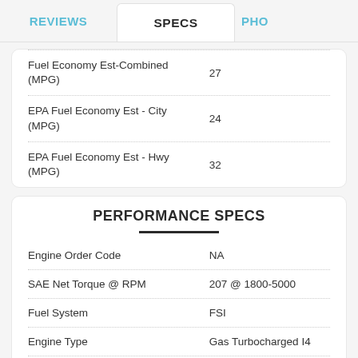REVIEWS | SPECS | PHO
| Spec | Value |
| --- | --- |
| Fuel Economy Est-Combined (MPG) | 27 |
| EPA Fuel Economy Est - City (MPG) | 24 |
| EPA Fuel Economy Est - Hwy (MPG) | 32 |
PERFORMANCE SPECS
| Spec | Value |
| --- | --- |
| Engine Order Code | NA |
| SAE Net Torque @ RPM | 207 @ 1800-5000 |
| Fuel System | FSI |
| Engine Type | Gas Turbocharged I4 |
| SAE Net Horsepower @ RPM | 200 @ 5100-6000 |